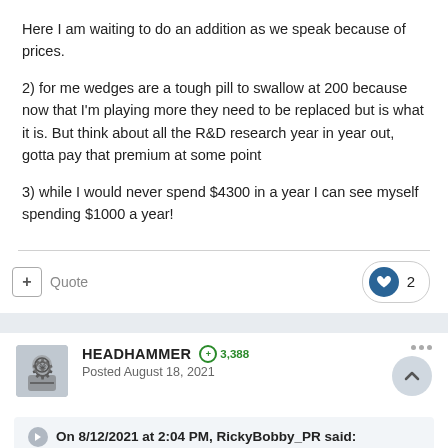Here I am waiting to do an addition as we speak because of prices.
2) for me wedges are a tough pill to swallow at 200 because now that I'm playing more they need to be replaced but is what it is. But think about all the R&D research year in year out, gotta pay that premium at some point
3) while I would never spend $4300 in a year I can see myself spending $1000 a year!
Quote  ♥ 2
HEADHAMMER  +3,388  Posted August 18, 2021
On 8/12/2021 at 2:04 PM, RickyBobby_PR said: